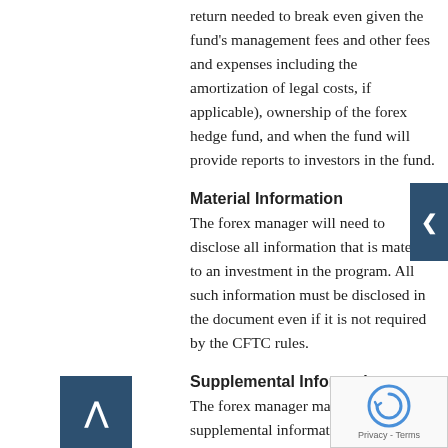return needed to break even given the fund's management fees and other fees and expenses including the amortization of legal costs, if applicable), ownership of the forex hedge fund, and when the fund will provide reports to investors in the fund.
Material Information
The forex manager will need to disclose all information that is material to an investment in the program. All such information must be disclosed in the document even if it is not required by the CFTC rules.
Supplemental Information
The forex manager may include supplemental information (i.e. information not required by the CFTC rules, the CEA, or other federal or state laws) in the disclosure document. However, the forex manager should note that such supplemental information is subject to the same